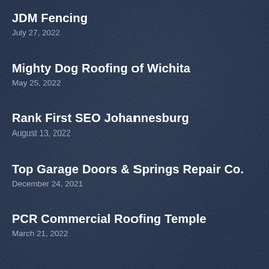JDM Fencing
July 27, 2022
Mighty Dog Roofing of Wichita
May 25, 2022
Rank First SEO Johannesburg
August 13, 2022
Top Garage Doors & Springs Repair Co.
December 24, 2021
PCR Commercial Roofing Temple
March 21, 2022